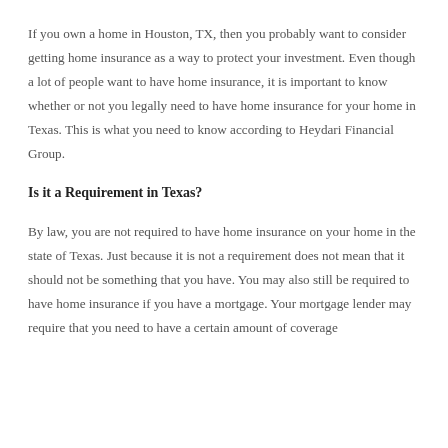If you own a home in Houston, TX, then you probably want to consider getting home insurance as a way to protect your investment. Even though a lot of people want to have home insurance, it is important to know whether or not you legally need to have home insurance for your home in Texas. This is what you need to know according to Heydari Financial Group.
Is it a Requirement in Texas?
By law, you are not required to have home insurance on your home in the state of Texas. Just because it is not a requirement does not mean that it should not be something that you have. You may also still be required to have home insurance if you have a mortgage. Your mortgage lender may require that you need to have a certain amount of coverage